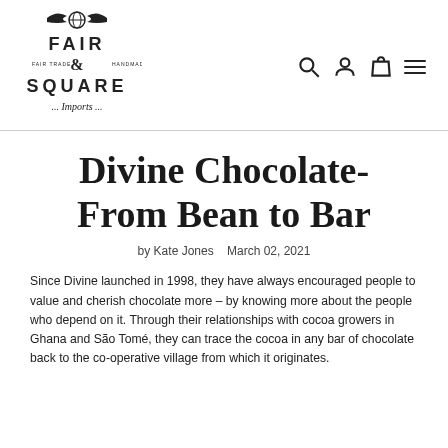[Figure (logo): Fair and Square Imports logo with winged globe, decorative lettering]
Divine Chocolate- From Bean to Bar
by Kate Jones   March 02, 2021
Since Divine launched in 1998, they have always encouraged people to value and cherish chocolate more – by knowing more about the people who depend on it. Through their relationships with cocoa growers in Ghana and São Tomé, they can trace the cocoa in any bar of chocolate back to the co-operative village from which it originates.